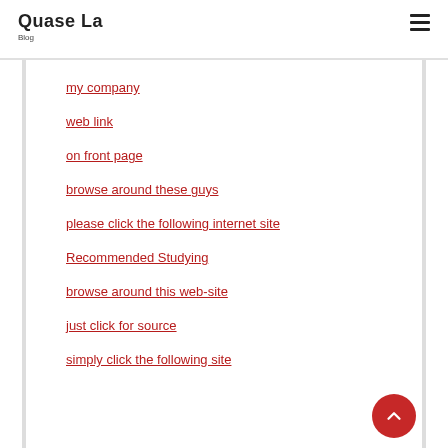Quase La Blog
my company
web link
on front page
browse around these guys
please click the following internet site
Recommended Studying
browse around this web-site
just click for source
simply click the following site